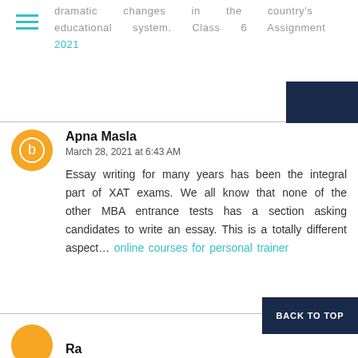dramatic changes in the country's educational system. Class 6 Assignment 2021
Essay writing for many years has been the integral part of XAT exams. We all know that none of the other MBA entrance tests has a section asking candidates to write an essay. This is a totally different aspect… online courses for personal trainer
Apna Masla
March 28, 2021 at 6:43 AM
Back to top